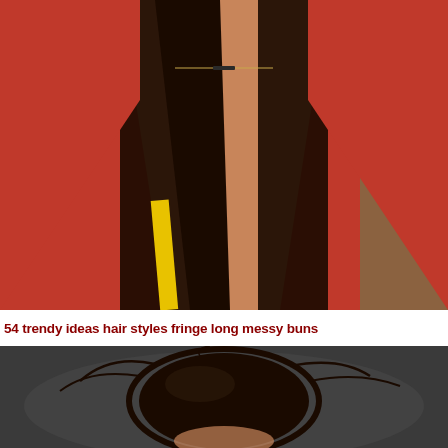[Figure (photo): Close-up photo of a woman wearing a deep V-neck red blazer with a yellow strap, dark straight hair, a thin gold necklace, and a watch visible on the right side. Cropped from chest/neck area upward.]
54 trendy ideas hair styles fringe long messy buns
[Figure (photo): Top-down view of a woman with dark hair tied up in a messy bun, photographed from above against a dark grey background.]